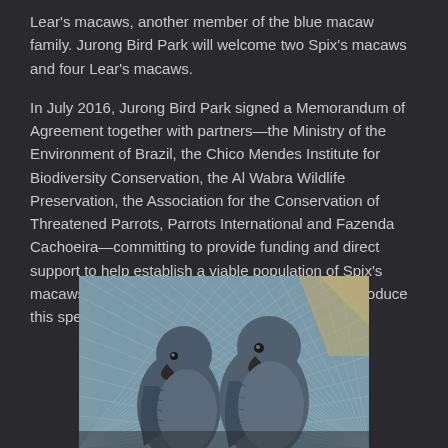Lear's macaws, another member of the blue macaw family. Jurong Bird Park will welcome two Spix's macaws and four Lear's macaws.
In July 2016, Jurong Bird Park signed a Memorandum of Agreement together with partners—the Ministry of the Environment of Brazil, the Chico Mendes Institute for Biodiversity Conservation, the Al Wabra Wildlife Preservation, the Association for the Conservation of Threatened Parrots, Parrots International and Fazenda Cachoeira—committing to provide funding and direct support to help establish a viable population of Spix's macaws under human care, and ultimately to reintroduce this species into the wild.
[Figure (photo): Two blue-grey macaws (Spix's macaws) perched side by side in front of a wire mesh enclosure background.]